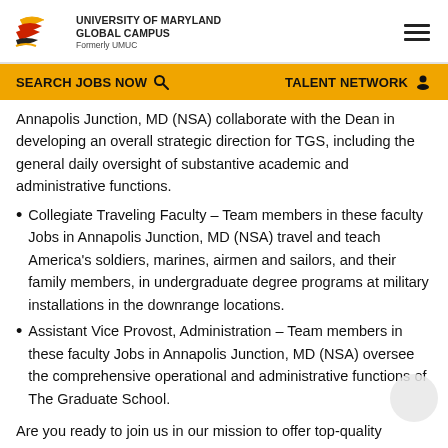UNIVERSITY OF MARYLAND GLOBAL CAMPUS Formerly UMUC
SEARCH JOBS NOW  TALENT NETWORK
Annapolis Junction, MD (NSA) collaborate with the Dean in developing an overall strategic direction for TGS, including the general daily oversight of substantive academic and administrative functions.
Collegiate Traveling Faculty – Team members in these faculty Jobs in Annapolis Junction, MD (NSA) travel and teach America's soldiers, marines, airmen and sailors, and their family members, in undergraduate degree programs at military installations in the downrange locations.
Assistant Vice Provost, Administration – Team members in these faculty Jobs in Annapolis Junction, MD (NSA) oversee the comprehensive operational and administrative functions of The Graduate School.
Are you ready to join us in our mission to offer top-quality educational opportunities to students in Maryland and around the globe? Apply for Collegiate Faculty Jobs in Annapolis Junction,